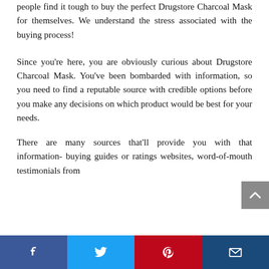people find it tough to buy the perfect Drugstore Charcoal Mask for themselves. We understand the stress associated with the buying process!
Since you're here, you are obviously curious about Drugstore Charcoal Mask. You've been bombarded with information, so you need to find a reputable source with credible options before you make any decisions on which product would be best for your needs.
There are many sources that'll provide you with that information- buying guides or ratings websites, word-of-mouth testimonials from
[Figure (other): Scroll-to-top button, grey arrow pointing up]
Facebook | Twitter | Pinterest | Email share buttons